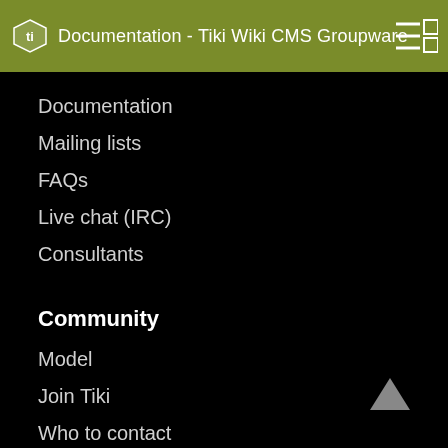Documentation - Tiki Wiki CMS Groupware
Documentation
Mailing lists
FAQs
Live chat (IRC)
Consultants
Community
Model
Join Tiki
Who to contact
Feature request
Bug report
Roadmap
Featured Tikis
IRC chat
Events
Videos